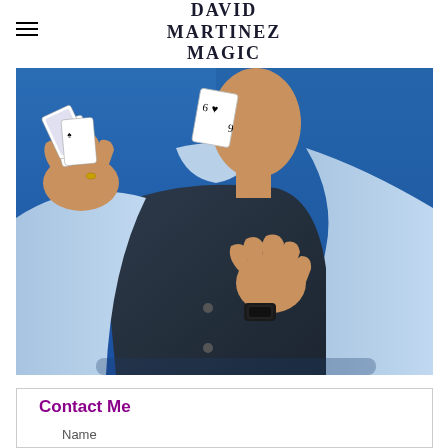DAVID MARTINEZ MAGIC
[Figure (photo): A magician in a dark vest and light blue shirt tossing playing cards against a blue background, with one hand holding a fan of cards and the other hand open as cards fly through the air.]
Contact Me
Name